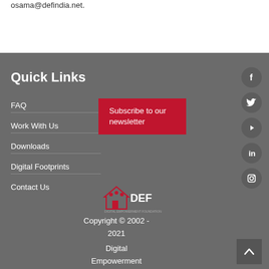osama@defindia.net.
Quick Links
FAQ
Work With Us
Downloads
Digital Footprints
Contact Us
Subscribe to our newsletter
[Figure (logo): DEF (Digital Empowerment Foundation) logo with house icon and figures]
Copyright © 2002 - 2021
Digital Empowerment